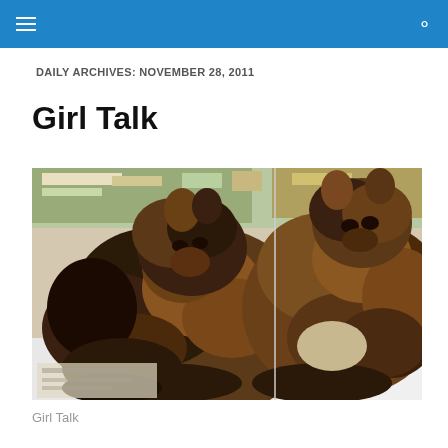DAILY ARCHIVES: NOVEMBER 28, 2011
Girl Talk
[Figure (photo): Two tortoiseshell cats lying curled up together on a white surface, surrounded by papers and books in the background. The cats have dark brown, black, and orange mottled fur.]
Girl Talk